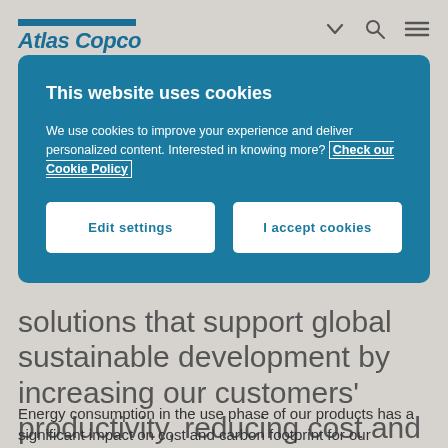Atlas Copco
This website uses cookies
We use cookies to improve your experience and deliver personalized content. Interested in knowing more? Check our Cookie Policy
Edit settings
I accept cookies
solutions that support global sustainable development by increasing our customers' productivity, reducing cost and helping them meet their sustainability ambitions.
Energy consumption in the use phase of our products has a significant impact on cost and carbon footprint for our customers. One of the Group's most